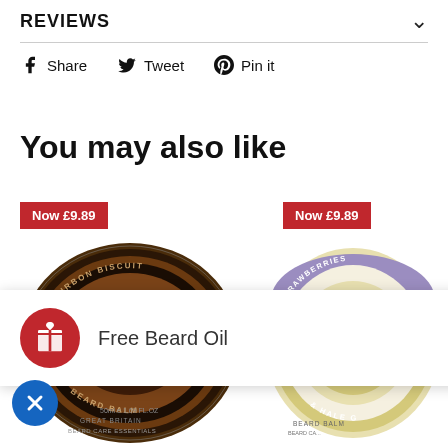REVIEWS
Share   Tweet   Pin it
You may also like
[Figure (photo): Left product: circular tin of Bourbon Biscuit Beard Balm by Male Grooming & Hale, 50ml, with price badge 'Now £9.89']
[Figure (photo): Right product: circular tin of Strawberry & Hale beard balm with price badge 'Now £9.89']
Free Beard Oil